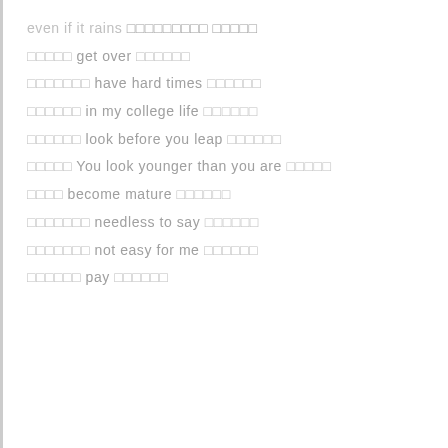even if it rains □□□□□□□□□ □□□□□
□□□□□ get over □□□□□□
□□□□□□□ have hard times □□□□□□
□□□□□□ in my college life □□□□□□
□□□□□□ look before you leap □□□□□□
□□□□□ You look younger than you are □□□□□
□□□□ become mature □□□□□□
□□□□□□□ needless to say □□□□□□
□□□□□□□ not easy for me □□□□□□
□□□□□□ pay □□□□□□